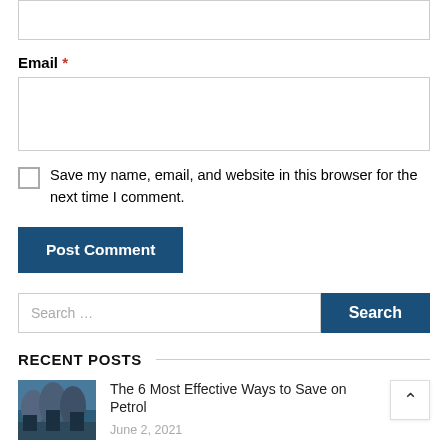(Input field — partial, top cut off)
Email *
(Email input field)
Save my name, email, and website in this browser for the next time I comment.
Post Comment
Search …
RECENT POSTS
The 6 Most Effective Ways to Save on Petrol
June 2, 2021